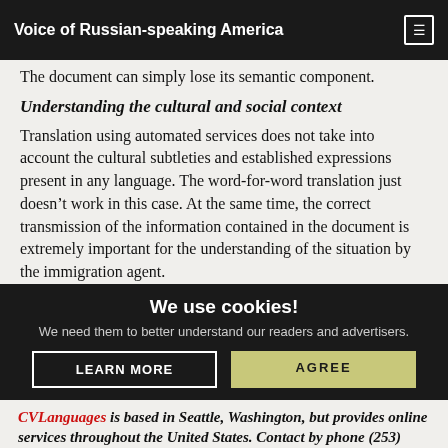Voice of Russian-speaking America
The document can simply lose its semantic component.
Understanding the cultural and social context
Translation using automated services does not take into account the cultural subtleties and established expressions present in any language. The word-for-word translation just doesn’t work in this case. At the same time, the correct transmission of the information contained in the document is extremely important for the understanding of the situation by the immigration agent.
We use cookies! We need them to better understand our readers and advertisers. LEARN MORE AGREE
CVLanguages is based in Seattle, Washington, but provides online services throughout the United States. Contact by phone (253) 455-8583 or by e-mail: translation@cvlanguages.org